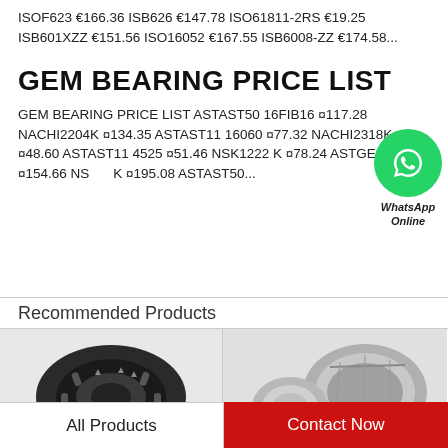ISOF623 €166.36 ISB626 €147.78 ISO61811-2RS €19.25 ISB601XZZ €151.56 ISO16052 €167.55 ISB6008-ZZ €174.58...
GEM BEARING PRICE LIST
GEM BEARING PRICE LIST ASTAST50 16FIB16 ¤117.28 NACHI2204K ¤134.35 ASTAST11 16060 ¤77.32 NACHI2318K ¤48.60 ASTAST11 4525 ¤51.46 NSK1222 K ¤78.24 ASTGE20ES ¤154.66 NSK ¤4 K ¤195.08 ASTAST50...
[Figure (logo): WhatsApp green circle icon with phone handset, labeled WhatsApp Online]
Recommended Products
[Figure (photo): Photo of a dark cylindrical roller bearing on the left side]
[Figure (photo): Photo of tapered roller bearing components on the right side]
All Products
Contact Now